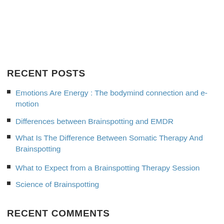RECENT POSTS
Emotions Are Energy : The bodymind connection and e-motion
Differences between Brainspotting and EMDR
What Is The Difference Between Somatic Therapy And Brainspotting
What to Expect from a Brainspotting Therapy Session
Science of Brainspotting
RECENT COMMENTS